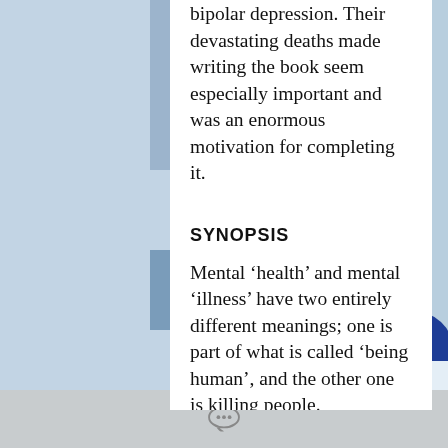bipolar depression. Their devastating deaths made writing the book seem especially important and was an enormous motivation for completing it.
SYNOPSIS
Mental ‘health’ and mental ‘illness’ have two entirely different meanings; one is part of what is called ‘being human’, and the other one is killing people.
It is important to make the